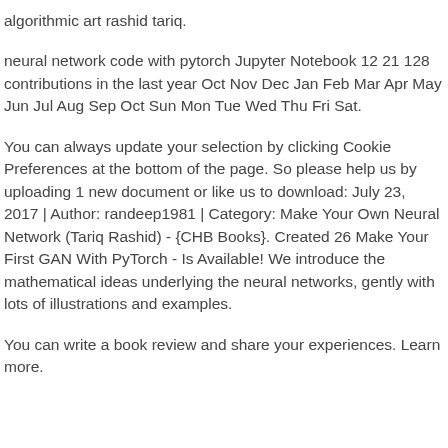algorithmic art rashid tariq.
neural network code with pytorch Jupyter Notebook 12 21 128 contributions in the last year Oct Nov Dec Jan Feb Mar Apr May Jun Jul Aug Sep Oct Sun Mon Tue Wed Thu Fri Sat.
You can always update your selection by clicking Cookie Preferences at the bottom of the page. So please help us by uploading 1 new document or like us to download: July 23, 2017 | Author: randeep1981 | Category: Make Your Own Neural Network (Tariq Rashid) - {CHB Books}. Created 26 Make Your First GAN With PyTorch - Is Available! We introduce the mathematical ideas underlying the neural networks, gently with lots of illustrations and examples.
You can write a book review and share your experiences. Learn more.